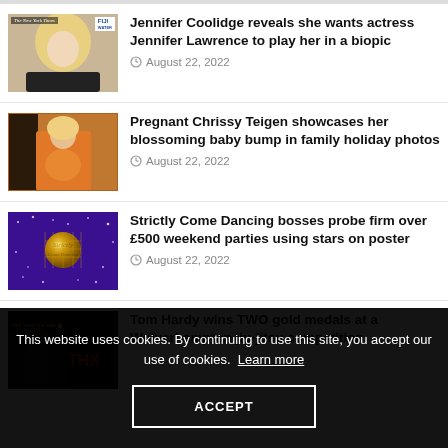[Figure (photo): Jennifer Coolidge at New York Times / FIJI Water event, blonde hair, black outfit]
Jennifer Coolidge reveals she wants actress Jennifer Lawrence to play her in a biopic
August 22, 2022
[Figure (photo): Pregnant Chrissy Teigen in orange outfit, mirror selfie]
Pregnant Chrissy Teigen showcases her blossoming baby bump in family holiday photos
August 22, 2022
[Figure (photo): Strictly Come Dancing logo with gold glitter ball on purple sparkly background]
Strictly Come Dancing bosses probe firm over £500 weekend parties using stars on poster
August 22, 2022
[Figure (photo): Tom Hardy wins TWO gold medals at a Wolverhampton jiu-jitsu competition - dark background with THX logo]
Tom Hardy wins TWO gold medals at a Wolverhampton jiu-jitsu competition
This website uses cookies. By continuing to use this site, you accept our use of cookies. Learn more